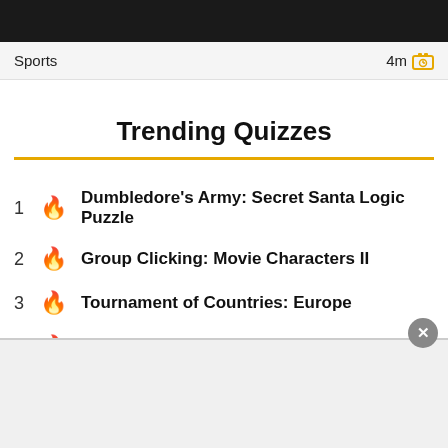[Figure (photo): Dark top image banner, partial photo visible]
Sports  4m
Trending Quizzes
1 🔥 Dumbledore's Army: Secret Santa Logic Puzzle
2 🔥 Group Clicking: Movie Characters II
3 🔥 Tournament of Countries: Europe
4 🔥 Group Clicking: Music
5 🔥 Just For Fun 7-to-1
[Figure (other): Advertisement banner at bottom]